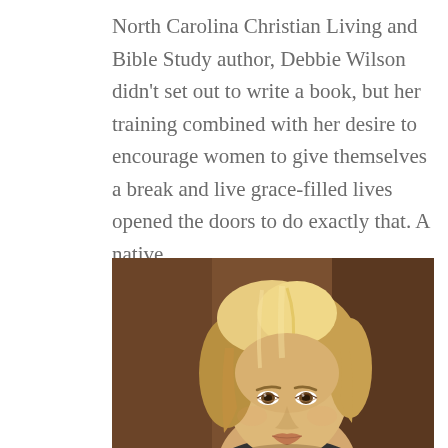North Carolina Christian Living and Bible Study author, Debbie Wilson didn't set out to write a book, but her training combined with her desire to encourage women to give themselves a break and live grace-filled lives opened the doors to do exactly that. A native…
[Figure (photo): Professional headshot portrait of a blonde woman (Debbie Wilson) against a dark brown background, cropped at the shoulders/chin level, showing the top half of her face prominently.]